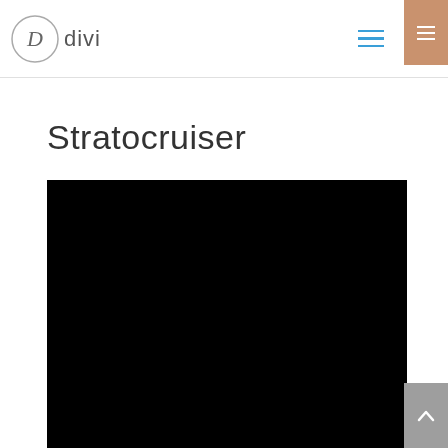Divi logo and navigation header
Stratocruiser
[Figure (photo): Large black rectangular image area below the Stratocruiser title]